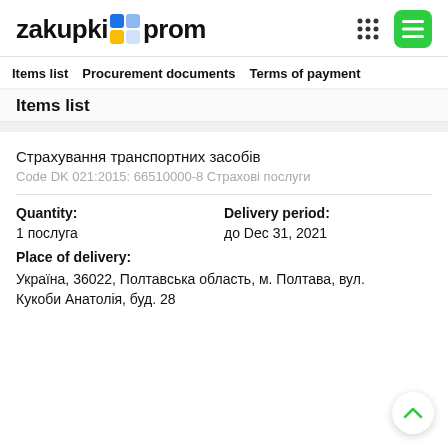zakupki prom
Items list | Procurement documents | Terms of payment
Items list
Страхування транспортних засобів
Code DK 021:2015: 66510000-8 Страхові послуги
Quantity: 1 послуга
Delivery period: до Dec 31, 2021
Place of delivery: Україна, 36022, Полтавська область, м. Полтава, вул. Кукоби Анатолія, буд. 28